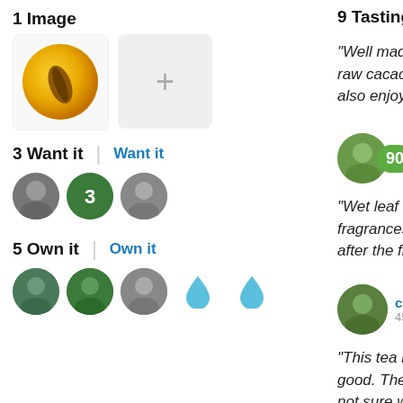1 Image
[Figure (photo): Tea image thumbnail (golden yellow tea in bowl) and add image button with plus sign]
3 Want it
Want it
[Figure (photo): Three circular avatar photos of users who want it]
5 Own it
Own it
[Figure (photo): Three circular avatar photos and two blue water drop icons for users who own it]
9 Tasting Not
“Well made GA raw cacao qu also enjoyed b
[Figure (photo): Reviewer photo with score badge 90 and name starting with C, 20-something tasting notes]
“Wet leaf after fragrances. R after the first
[Figure (photo): Reviewer photo of ccr, 45 tasting notes]
ccr
45 tasti
“This tea is rea good. There w not sure what